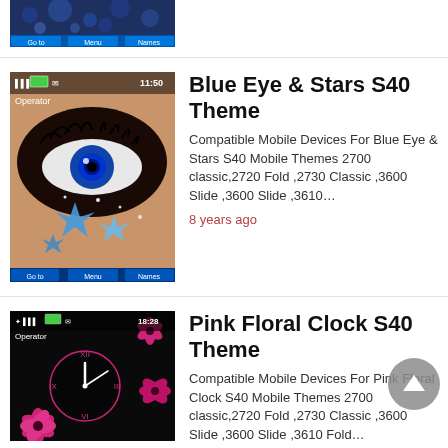[Figure (screenshot): Partial mobile phone screen showing a Nokia-style theme with blue floral/bubble design, Go to / Menu / Names soft keys at bottom]
[Figure (screenshot): Nokia S40 mobile phone screen showing Blue Eye & Stars theme – close-up of a blue eye with sparkly blue star decorations, time 11:50, Operator label, Go to / Menu / Names soft keys]
Blue Eye & Stars S40 Theme
Compatible Mobile Devices For Blue Eye & Stars S40 Mobile Themes 2700 classic,2720 Fold ,2730 Classic ,3600 Slide ,3600 Slide ,3610…
8 years ago
[Figure (screenshot): Nokia S40 mobile phone screen showing Pink Floral Clock theme – dark background with pink flowers and analog clock, time 18:28, Operator label]
Pink Floral Clock S40 Theme
Compatible Mobile Devices For Pink Floral Clock S40 Mobile Themes 2700 classic,2720 Fold ,2730 Classic ,3600 Slide ,3600 Slide ,3610 Fold…